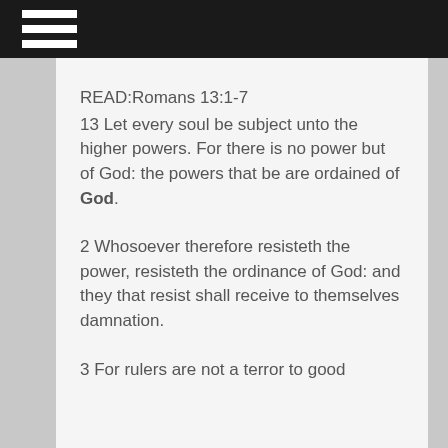≡
READ:Romans 13:1-7
13 Let every soul be subject unto the higher powers. For there is no power but of God: the powers that be are ordained of God.
2 Whosoever therefore resisteth the power, resisteth the ordinance of God: and they that resist shall receive to themselves damnation.
3 For rulers are not a terror to good